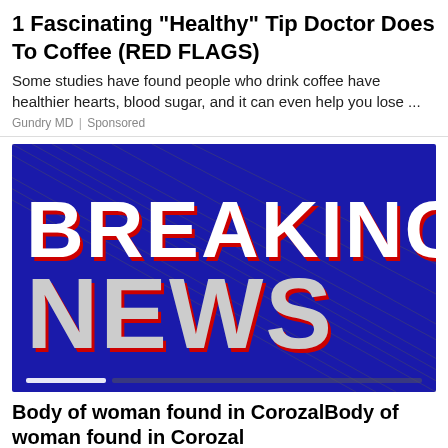1 Fascinating "Healthy" Tip Doctor Does To Coffee (RED FLAGS)
Some studies have found people who drink coffee have healthier hearts, blood sugar, and it can even help you lose ...
Gundry MD | Sponsored
[Figure (photo): Breaking News graphic with large white 3D bold text 'BREAKING NEWS' on a blue background with diagonal lines and red shadows]
Body of woman found in CorozalBody of woman found in Corozal